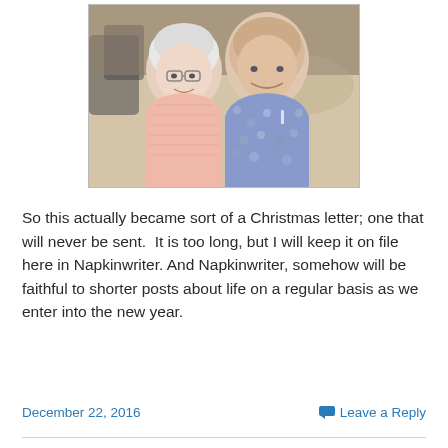[Figure (photo): An elderly couple seated at a restaurant or cafeteria. The woman on the left has white hair and glasses, wearing a pink striped shirt. The man on the right is bald, wearing a blue floral/patterned shirt. They are smiling.]
So this actually became sort of a Christmas letter; one that will never be sent.  It is too long, but I will keep it on file here in Napkinwriter. And Napkinwriter, somehow will be faithful to shorter posts about life on a regular basis as we enter into the new year.
December 22, 2016
Leave a Reply